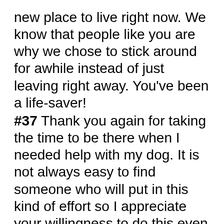new place to live right now. We know that people like you are why we chose to stick around for awhile instead of just leaving right away. You've been a life-saver!
#37 Thank you again for taking the time to be there when I needed help with my dog. It is not always easy to find someone who will put in this kind of effort so I appreciate your willingness to do this even though it was not easy.
#38 What a thoughtful thing to do – thank you so much! Sometimes it is hard to find people who are willing to go out of their way for others without being